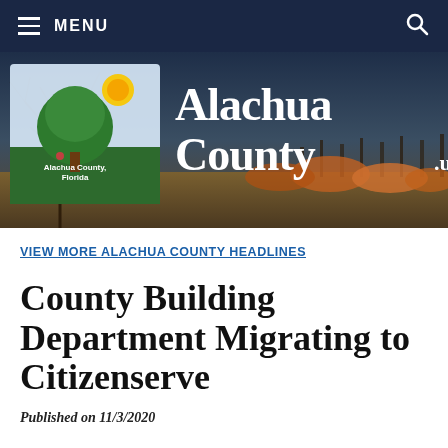MENU
[Figure (logo): Alachua County Florida government website banner with county logo (tree, sun) and text 'Alachua County.us' on a scenic background of bare trees and autumn foliage]
VIEW MORE ALACHUA COUNTY HEADLINES
County Building Department Migrating to Citizenserve
Published on 11/3/2020